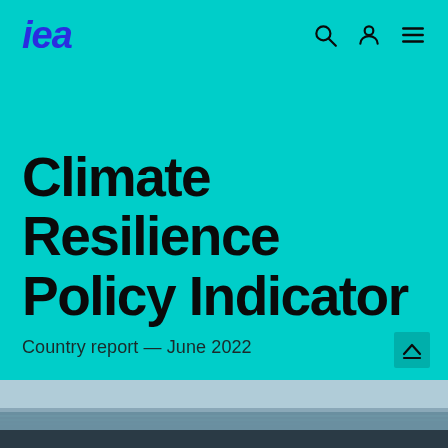IEA logo and navigation icons
Climate Resilience Policy Indicator
Country report — June 2022
[Figure (photo): Bottom strip showing a coastal/ocean landscape photograph in muted tones]